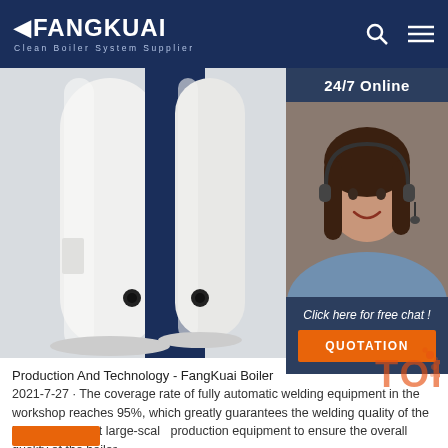FANGKUAI - Clean Boiler System Supplier
[Figure (photo): Industrial boiler tank - white and dark navy cylindrical boiler unit photographed from close range, showing connection ports]
[Figure (photo): 24/7 Online customer service agent - woman wearing headset, smiling, with overlay text 'Click here for free chat!' and QUOTATION button]
Production And Technology - FangKuai Boiler
2021-7-27 · The coverage rate of fully automatic welding equipment in the workshop reaches 95%, which greatly guarantees the welding quality of the boiler. Intelligent large-scale production equipment to ensure the overall quality of the boiler.